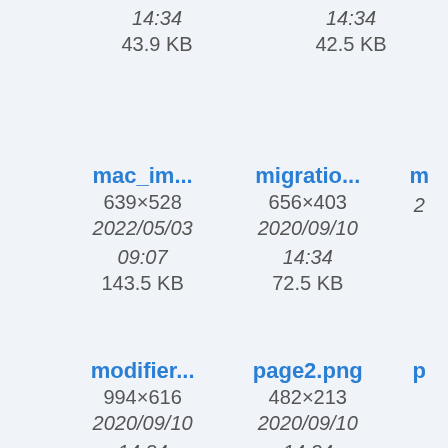14:34
43.9 KB

14:34
42.5 KB
mac_im...
639×528
2022/05/03
09:07
143.5 KB
migratio...
656×403
2020/09/10
14:34
72.5 KB
modifier...
994×616
2020/09/10
14:34
page2.png
482×213
2020/09/10
14:34